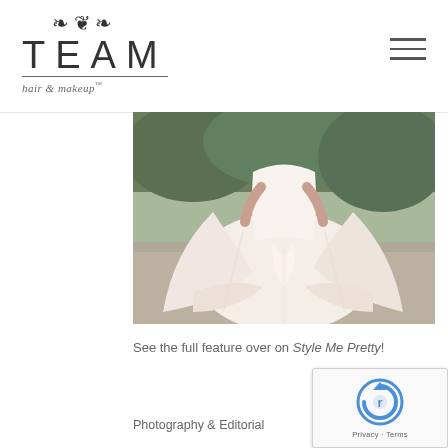[Figure (logo): TEAM hair & makeup logo with ornamental flourish above the word TEAM in large light letters, subtitle in italic serif font]
[Figure (photo): Bride in a flowing white/blush wedding dress walking on a gravel path, holding up the skirt, trees in background]
See the full feature over on Style Me Pretty!
Photography & Editorial